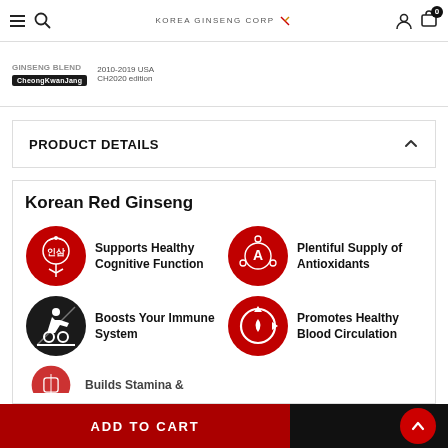Korea Ginseng Corp navigation bar with hamburger menu, search, logo, account, and cart icons
ginseng blend | CheongKwanJang | 2010-2019 USA CH2020 edition
PRODUCT DETAILS
Korean Red Ginseng
Supports Healthy Cognitive Function
Plentiful Supply of Antioxidants
Boosts Your Immune System
Promotes Healthy Blood Circulation
Builds Stamina &
ADD TO CART